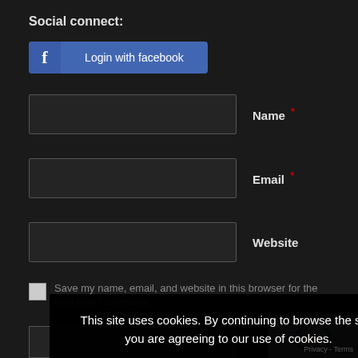Social connect:
[Figure (screenshot): Facebook login button with Facebook icon on left and 'Login with facebook' text]
Name *
Email *
Website
Save my name, email, and website in this browser for the next time I comment.
This site uses cookies. By continuing to browse the site, you are agreeing to our use of cookies.
OK
Learn more
Privacy - Terms